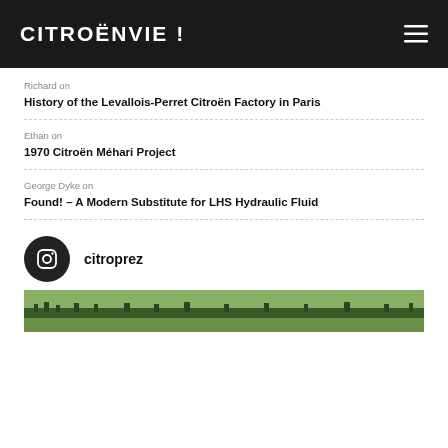CITROËNVIE !
Richard on
History of the Levallois-Perret Citroën Factory in Paris
Ethan on
1970 Citroën Méhari Project
George Dyke on
Found! – A Modern Substitute for LHS Hydraulic Fluid
citroprez
[Figure (photo): Outdoor landscape photo showing green field with trees along the horizon line]